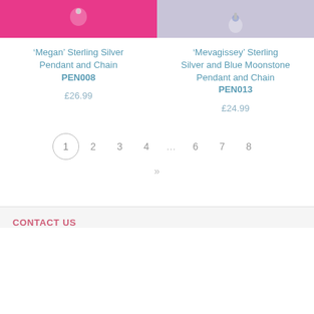[Figure (photo): Product image of Megan Sterling Silver Pendant on pink background]
[Figure (photo): Product image of Mevagissey Sterling Silver and Blue Moonstone Pendant on light purple background]
‘Megan’ Sterling Silver Pendant and Chain PEN008
‘Mevagissey’ Sterling Silver and Blue Moonstone Pendant and Chain PEN013
£26.99
£24.99
1  2  3  4  ...  6  7  8  »
CONTACT US